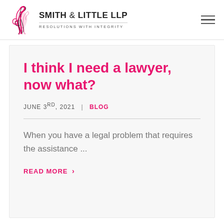Smith & Little LLP — Resolutions with Integrity
I think I need a lawyer, now what?
JUNE 3RD, 2021 | BLOG
When you have a legal problem that requires the assistance ...
READ MORE >